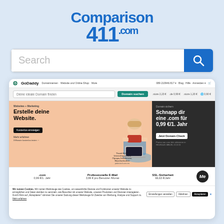[Figure (logo): Comparison411.com logo in blue text]
Search
[Figure (screenshot): Screenshot of GoDaddy.com German homepage showing domain search, website builder hero banner, .com domain promotion for 0.99€/1. Jahr, feature list (.com, Professionelle E-Mail, SSL-Sicherheit), and cookie consent bar.]